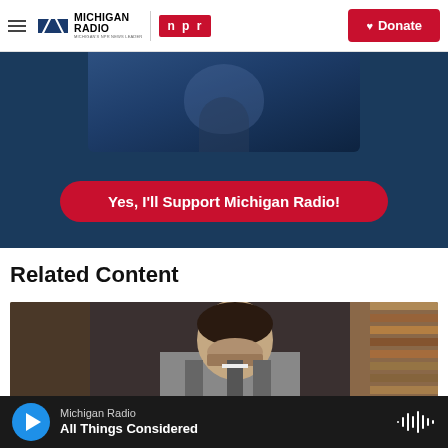Michigan Radio / NPR — Donate
[Figure (screenshot): Michigan Radio and NPR logos in website header with a red Donate button on the right]
[Figure (photo): Blue donation banner with partial person image above and a red rounded button reading 'Yes, I'll Support Michigan Radio!']
Related Content
[Figure (photo): Photo of a young man with dark hair and beard wearing a vest and tie, with bookshelves in background]
Michigan Radio — All Things Considered (audio player)